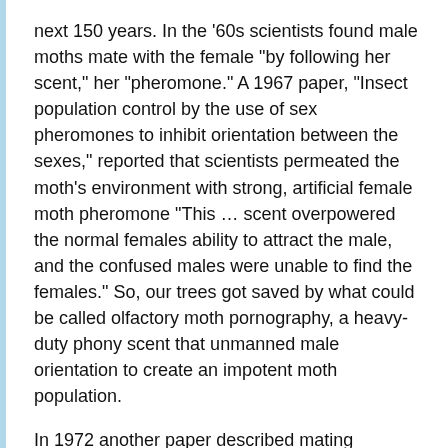next 150 years. In the '60s scientists found male moths mate with the female "by following her scent," her "pheromone."  A 1967 paper, "Insect population control by the use of sex pheromones to inhibit orientation between the sexes," reported that scientists permeated the moth's environment with strong, artificial female moth pheromone "This … scent overpowered the normal females ability to attract the male, and the confused males were unable to find the females."  So, our trees got saved by what could be called olfactory moth pornography, a heavy-duty phony scent that unmanned male orientation to create an impotent moth population.
In 1972 another paper described mating disorientation as "preventing male gypsy moths from finding mates," using pheromones. Called the confusion method:
“An airplane scatters … pellets imbedded with